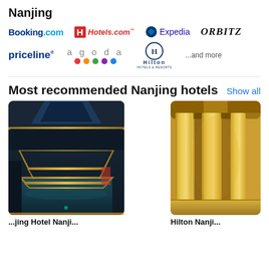Nanjing
[Figure (logo): Booking.com logo]
[Figure (logo): Hotels.com logo]
[Figure (logo): Expedia logo]
[Figure (logo): ORBITZ logo]
[Figure (logo): priceline logo]
[Figure (logo): agoda logo with colored dots]
[Figure (logo): Hilton Hotels & Resorts logo]
...and more
Most recommended Nanjing hotels
Show all
[Figure (photo): Indoor hotel pool with golden LED lighting and glass ceiling skylight]
[Figure (photo): Luxury hotel lobby with golden marble columns]
...jing Hotel Nanji...
Hilton Nanji...